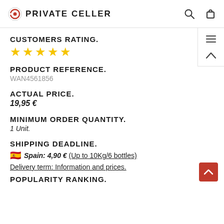PRIVATE CELLER
CUSTOMERS RATING.
[Figure (other): Five gold stars rating]
PRODUCT REFERENCE.
WAN4561856
ACTUAL PRICE.
19,95 €
MINIMUM ORDER QUANTITY.
1 Unit.
SHIPPING DEADLINE.
Spain: 4,90 € (Up to 10Kg/6 bottles)
Delivery term: Information and prices.
POPULARITY RANKING.